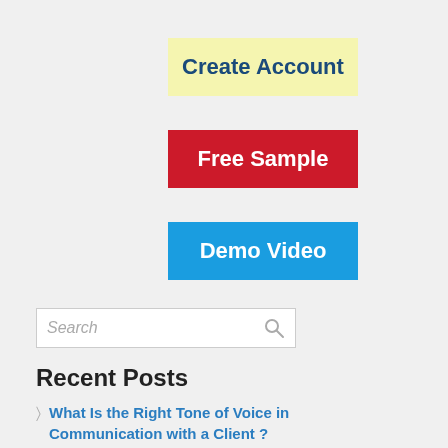[Figure (screenshot): Yellow button labeled 'Create Account' with dark blue bold text]
[Figure (screenshot): Red button labeled 'Free Sample' with white bold text]
[Figure (screenshot): Blue button labeled 'Demo Video' with white bold text]
[Figure (screenshot): Search input box with placeholder text 'Search' and magnifying glass icon]
Recent Posts
What Is the Right Tone of Voice in Communication with a Client ?